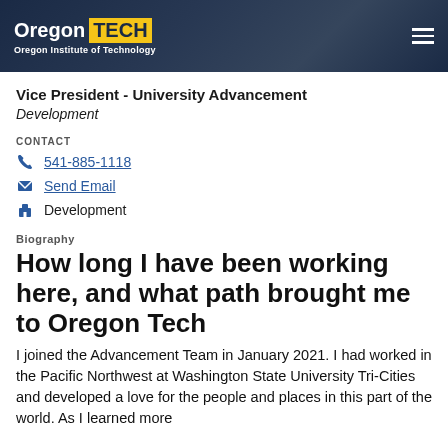Oregon TECH — Oregon Institute of Technology
Vice President - University Advancement
Development
CONTACT
541-885-1118
Send Email
Development
Biography
How long I have been working here, and what path brought me to Oregon Tech
I joined the Advancement Team in January 2021. I had worked in the Pacific Northwest at Washington State University Tri-Cities and developed a love for the people and places in this part of the world. As I learned more